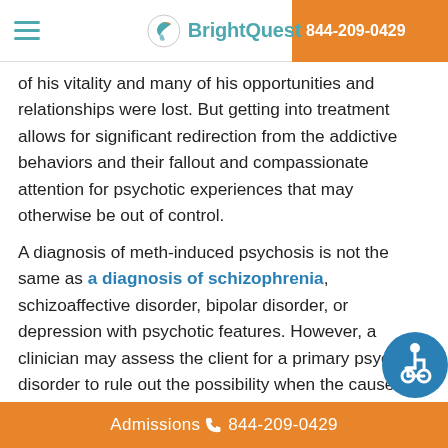BrightQuest | 844-209-0429
of his vitality and many of his opportunities and relationships were lost. But getting into treatment allows for significant redirection from the addictive behaviors and their fallout and compassionate attention for psychotic experiences that may otherwise be out of control.
A diagnosis of meth-induced psychosis is not the same as a diagnosis of schizophrenia, schizoaffective disorder, bipolar disorder, or depression with psychotic features. However, a clinician may assess the client for a primary psychotic disorder to rule out the possibility when the cause of psychosis is unclear. Early assessment allows for early determination of the best cour...
Admissions 844-209-0429